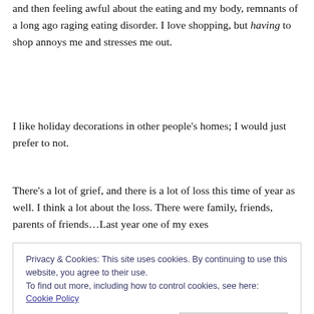and then feeling awful about the eating and my body, remnants of a long ago raging eating disorder. I love shopping, but having to shop annoys me and stresses me out.
I like holiday decorations in other people's homes; I would just prefer to not.
There's a lot of grief, and there is a lot of loss this time of year as well. I think a lot about the loss. There were family, friends, parents of friends…Last year one of my exes
Privacy & Cookies: This site uses cookies. By continuing to use this website, you agree to their use.
To find out more, including how to control cookies, see here: Cookie Policy
Close and accept